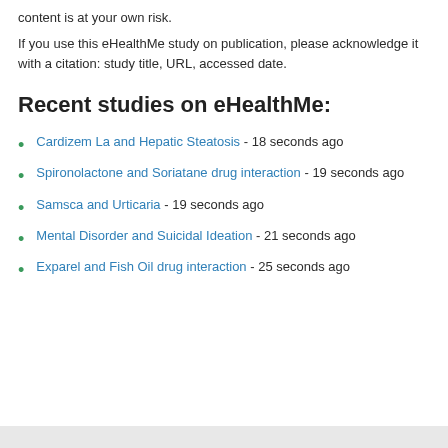content is at your own risk.
If you use this eHealthMe study on publication, please acknowledge it with a citation: study title, URL, accessed date.
Recent studies on eHealthMe:
Cardizem La and Hepatic Steatosis - 18 seconds ago
Spironolactone and Soriatane drug interaction - 19 seconds ago
Samsca and Urticaria - 19 seconds ago
Mental Disorder and Suicidal Ideation - 21 seconds ago
Exparel and Fish Oil drug interaction - 25 seconds ago